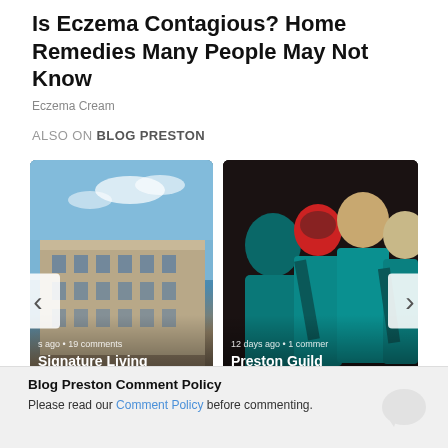Is Eczema Contagious? Home Remedies Many People May Not Know
Eczema Cream
ALSO ON BLOG PRESTON
[Figure (photo): Carousel with two blog post cards. Left card: photo of a historic building (Shankly Hotel), caption 's ago • 19 comments', title 'Signature Living Preston behind Shankly Hotel ...'. Right card: photo of people in teal jackets at Preston Guild event, caption '12 days ago • 1 commer', title 'Preston Guild reunion details announced'. Navigation arrows on left and right sides.]
Blog Preston Comment Policy
Please read our Comment Policy before commenting.